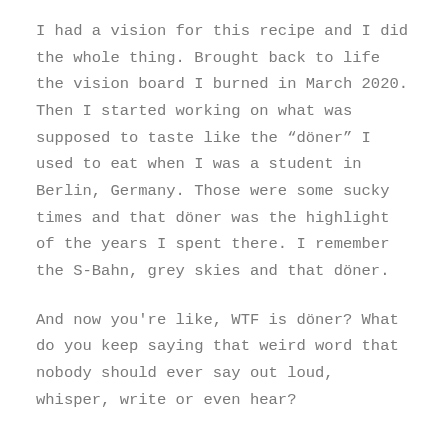I had a vision for this recipe and I did the whole thing. Brought back to life the vision board I burned in March 2020. Then I started working on what was supposed to taste like the “döner” I used to eat when I was a student in Berlin, Germany. Those were some sucky times and that döner was the highlight of the years I spent there. I remember the S-Bahn, grey skies and that döner.
And now you're like, WTF is döner? What do you keep saying that weird word that nobody should ever say out loud, whisper, write or even hear?